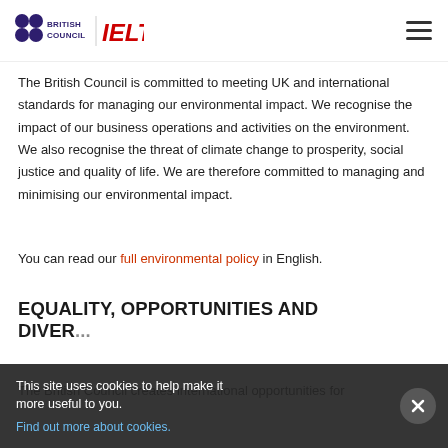British Council IELTS
The British Council is committed to meeting UK and international standards for managing our environmental impact. We recognise the impact of our business operations and activities on the environment. We also recognise the threat of climate change to prosperity, social justice and quality of life. We are therefore committed to managing and minimising our environmental impact.
You can read our full environmental policy in English.
EQUALITY, OPPORTUNITIES AND DIVER...
The British Council creates international opportunities for
This site uses cookies to help make it more useful to you. Find out more about cookies.